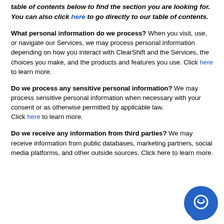table of contents below to find the section you are looking for. You can also click here to go directly to our table of contents.
What personal information do we process? When you visit, use, or navigate our Services, we may process personal information depending on how you interact with ClearShift and the Services, the choices you make, and the products and features you use. Click here to learn more.
Do we process any sensitive personal information? We may process sensitive personal information when necessary with your consent or as otherwise permitted by applicable law. Click here to learn more.
Do we receive any information from third parties? We may receive information from public databases, marketing partners, social media platforms, and other outside sources. Click here to learn more.
[Figure (illustration): Blue circular chat/support icon with a speech bubble symbol in the bottom right corner of the page]